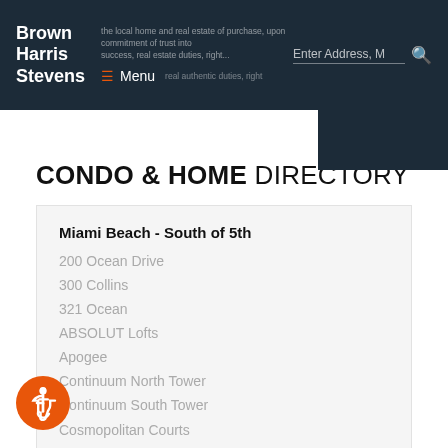Brown Harris Stevens — Menu | Enter Address, M — Search
CONDO & HOME DIRECTORY
Miami Beach - South of 5th
200 Ocean Drive
300 Collins
321 Ocean
ABSOLUT Lofts
Apogee
Continuum North Tower
Continuum South Tower
Cosmopolitan Courts
Cosmopolitan Towers
ss Miami Beach
ton Bentley Beach
ICON South Beach